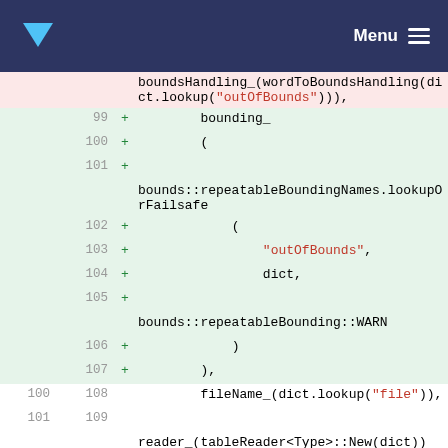Menu
[Figure (screenshot): Code diff view showing changes to C++ source code with line numbers, added lines (green background with + symbol) and removed/context lines. Lines 99-110 and ... are shown with old/new line numbers and code content.]